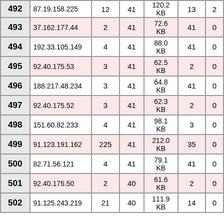| # | IP Address | Col3 | Col4 | Size | Col6 | Col7 |
| --- | --- | --- | --- | --- | --- | --- |
| 492 | 87.19.158.225 | 12 | 41 | 120.2 KB | 13 | 2 |
| 493 | 37.162.177.44 | 2 | 41 | 72.6 KB | 41 | 0 |
| 494 | 192.33.105.149 | 4 | 41 | 88.0 KB | 41 | 0 |
| 495 | 92.40.175.53 | 3 | 41 | 62.5 KB | 2 | 0 |
| 496 | 188.217.48.234 | 3 | 41 | 64.8 KB | 41 | 0 |
| 497 | 92.40.175.52 | 3 | 41 | 62.3 KB | 2 | 0 |
| 498 | 151.60.82.233 | 4 | 41 | 98.1 KB | 3 | 0 |
| 499 | 91.123.191.162 | 225 | 41 | 212.0 KB | 35 | 0 |
| 500 | 82.71.56.121 | 4 | 41 | 79.1 KB | 41 | 0 |
| 501 | 92.40.175.50 | 2 | 40 | 61.6 KB | 2 | 0 |
| 502 | 91.125.243.219 | 21 | 40 | 111.9 KB | 14 | 0 |